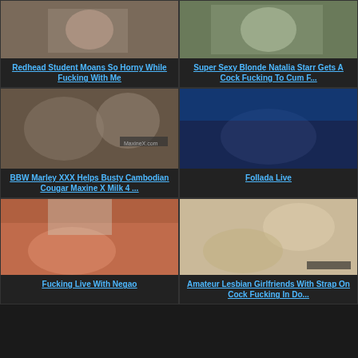[Figure (photo): Thumbnail image - video 1]
Redhead Student Moans So Horny While Fucking With Me
[Figure (photo): Thumbnail image - video 2]
Super Sexy Blonde Natalia Starr Gets A Cock Fucking To Cum F...
[Figure (photo): Thumbnail image - BBW Marley]
BBW Marley XXX Helps Busty Cambodian Cougar Maxine X Milk 4 ...
[Figure (photo): Thumbnail image - Follada Live]
Follada Live
[Figure (photo): Thumbnail image - Fucking Live With Negao]
Fucking Live With Negao
[Figure (photo): Thumbnail image - Amateur Lesbian]
Amateur Lesbian Girlfriends With Strap On Cock Fucking In Do...